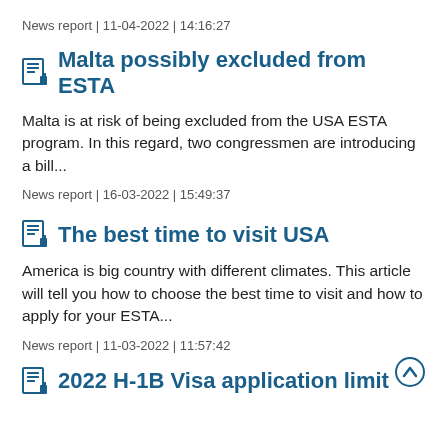News report | 11-04-2022 | 14:16:27
Malta possibly excluded from ESTA
Malta is at risk of being excluded from the USA ESTA program. In this regard, two congressmen are introducing a bill...
News report | 16-03-2022 | 15:49:37
The best time to visit USA
America is big country with different climates. This article will tell you how to choose the best time to visit and how to apply for your ESTA...
News report | 11-03-2022 | 11:57:42
2022 H-1B Visa application limit